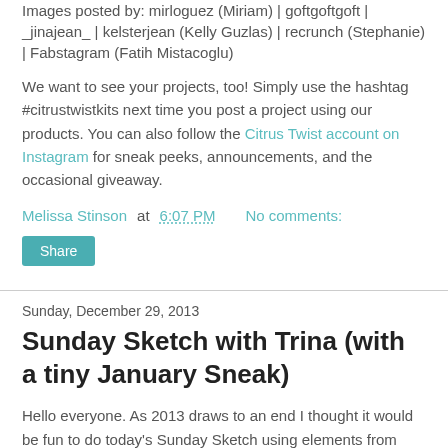Images posted by: mirloguez (Miriam) | goftgoftgoft | _jinajean_ | kelsterjean (Kelly Guzlas) | recrunch (Stephanie) | Fabstagram (Fatih Mistacoglu)
We want to see your projects, too! Simply use the hashtag #citrustwistkits next time you post a project using our products. You can also follow the Citrus Twist account on Instagram for sneak peeks, announcements, and the occasional giveaway.
Melissa Stinson at 6:07 PM   No comments:
Share
Sunday, December 29, 2013
Sunday Sketch with Trina (with a tiny January Sneak)
Hello everyone. As 2013 draws to an end I thought it would be fun to do today's Sunday Sketch using elements from some of the upcoming January kits. I hope this little sneak